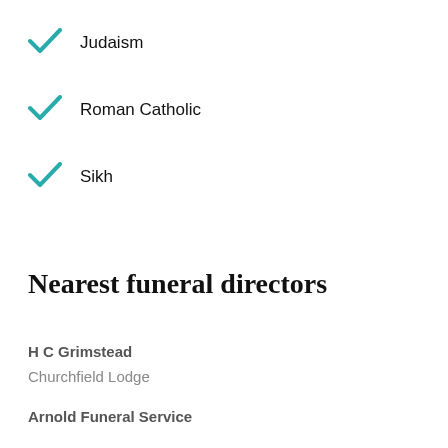Judaism
Roman Catholic
Sikh
Nearest funeral directors
H C Grimstead
Churchfield Lodge
Arnold Funeral Service